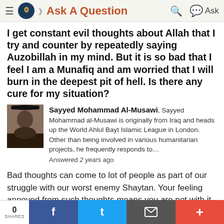Ask A Question
I get constant evil thoughts about Allah that I try and counter by repeatedly saying Auzobillah in my mind. But it is so bad that I feel I am a Munafiq and am worried that I will burn in the deepest pit of hell. Is there any cure for my situation?
Sayyed Mohammad Al-Musawi, Sayyed Mohammad al-Musawi is originally from Iraq and heads up the World Ahlul Bayt Islamic League in London. Other than being involved in various humanitarian projects, he frequently responds to… Answered 2 years ago
Bad thoughts can come to lot of people as part of our struggle with our worst enemy Shaytan. Your feeling annoyed from such thoughts means you are not with it and your heart and mind is with Allah, not with the bad
0 SHARES  f  t  [email]  +